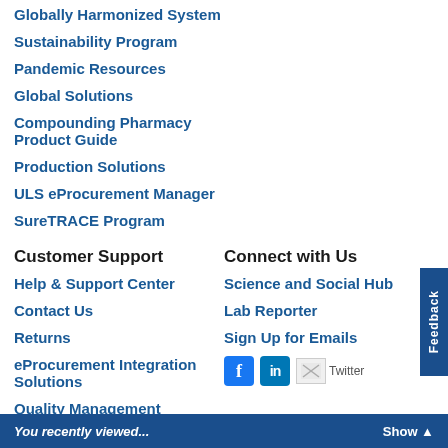Globally Harmonized System
Sustainability Program
Pandemic Resources
Global Solutions
Compounding Pharmacy Product Guide
Production Solutions
ULS eProcurement Manager
SureTRACE Program
Customer Support
Help & Support Center
Contact Us
Returns
eProcurement Integration Solutions
Quality Management
Connect with Us
Science and Social Hub
Lab Reporter
Sign Up for Emails
[Figure (other): Social media icons: Facebook, LinkedIn, Twitter]
You recently viewed...  Show